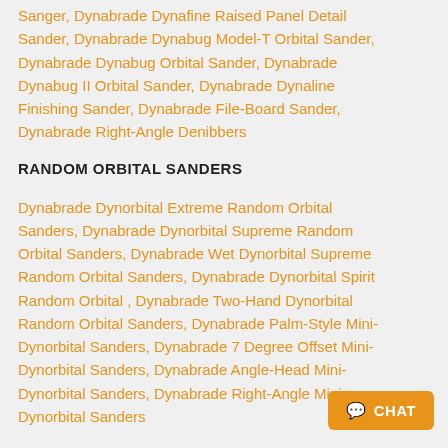Sanger, Dynabrade Dynafine Raised Panel Detail Sander, Dynabrade Dynabug Model-T Orbital Sander, Dynabrade Dynabug Orbital Sander, Dynabrade Dynabug II Orbital Sander, Dynabrade Dynaline Finishing Sander, Dynabrade File-Board Sander, Dynabrade Right-Angle Denibbers
RANDOM ORBITAL SANDERS
Dynabrade Dynorbital Extreme Random Orbital Sanders, Dynabrade Dynorbital Supreme Random Orbital Sanders, Dynabrade Wet Dynorbital Supreme Random Orbital Sanders, Dynabrade Dynorbital Spirit Random Orbital , Dynabrade Two-Hand Dynorbital Random Orbital Sanders, Dynabrade Palm-Style Mini-Dynorbital Sanders, Dynabrade 7 Degree Offset Mini-Dynorbital Sanders, Dynabrade Angle-Head Mini-Dynorbital Sanders, Dynabrade Right-Angle Mini-Dynorbital Sanders
ABRASIVE FINISHING TOOLS
Dynabrade 0.7hp Dynastraights, Dynabrade 1hp Dynastraights,